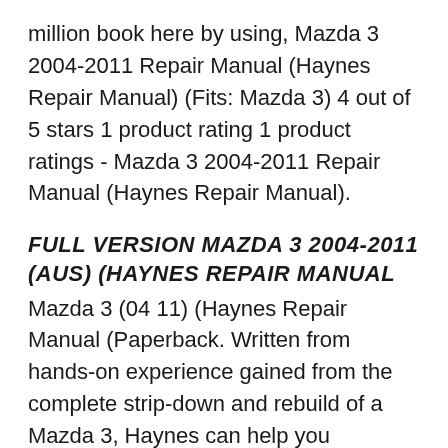million book here by using, Mazda 3 2004-2011 Repair Manual (Haynes Repair Manual) (Fits: Mazda 3) 4 out of 5 stars 1 product rating 1 product ratings - Mazda 3 2004-2011 Repair Manual (Haynes Repair Manual).
FULL VERSION MAZDA 3 2004-2011 (AUS) (HAYNES REPAIR MANUAL
Mazda 3 (04 11) (Haynes Repair Manual (Paperback. Written from hands-on experience gained from the complete strip-down and rebuild of a Mazda 3, Haynes can help you understand, care for and repair your Mazda 3. We do it ourselves to help you do-it-yourself, and whatever your mechanical ability, the practical step-by-step explanations, linked to over 900